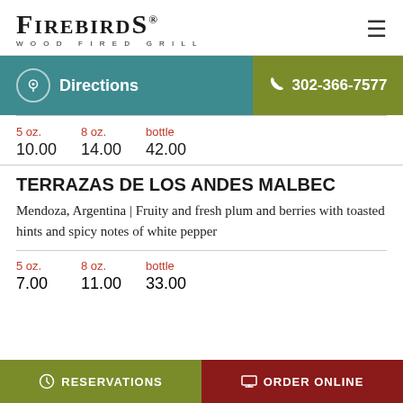FIREBIRDS WOOD FIRED GRILL
Directions | 302-366-7577
5 oz. 10.00 | 8 oz. 14.00 | bottle 42.00
TERRAZAS DE LOS ANDES MALBEC
Mendoza, Argentina | Fruity and fresh plum and berries with toasted hints and spicy notes of white pepper
5 oz. 7.00 | 8 oz. 11.00 | bottle 33.00
RESERVATIONS | ORDER ONLINE